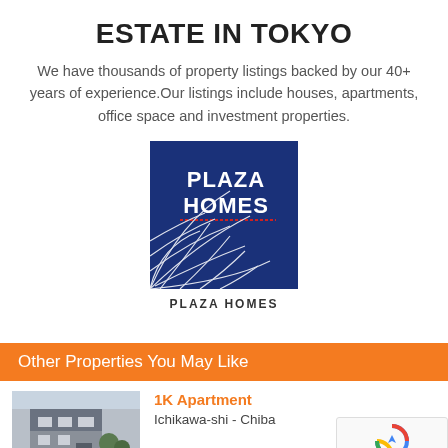ESTATE IN TOKYO
We have thousands of property listings backed by our 40+ years of experience.Our listings include houses, apartments, office space and investment properties.
[Figure (logo): Plaza Homes logo — dark blue square with PLAZA HOMES text in white and a globe/grid graphic in the lower left]
PLAZA HOMES
Other Properties You May Like
1K Apartment
Ichikawa-shi - Chiba